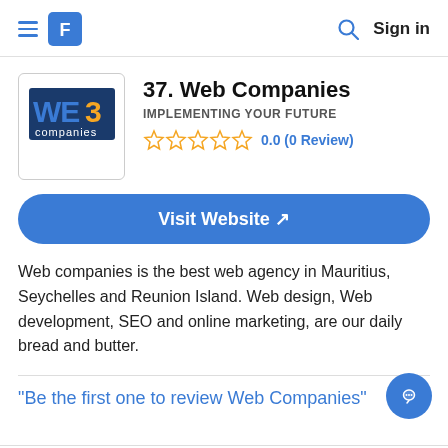≡ [logo] Sign in
[Figure (logo): Web Companies logo with stylized WEB3 text and 'companies' below in blue and dark colors]
37. Web Companies
IMPLEMENTING YOUR FUTURE
0.0 (0 Review)
Visit Website ↗
Web companies is the best web agency in Mauritius, Seychelles and Reunion Island. Web design, Web development, SEO and online marketing, are our daily bread and butter.
"Be the first one to review Web Companies"